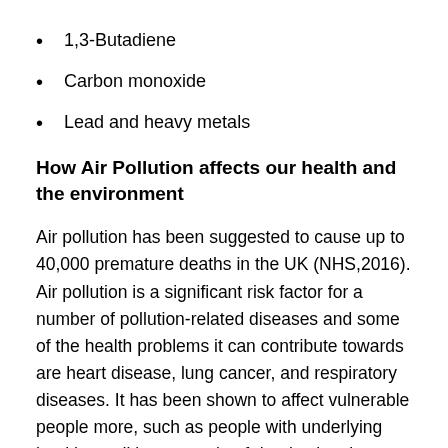1,3-Butadiene
Carbon monoxide
Lead and heavy metals
How Air Pollution affects our health and the environment
Air pollution has been suggested to cause up to 40,000 premature deaths in the UK (NHS,2016). Air pollution is a significant risk factor for a number of pollution-related diseases and some of the health problems it can contribute towards are heart disease, lung cancer, and respiratory diseases. It has been shown to affect vulnerable people more, such as people with underlying health conditions, people of deprivation, low-middle